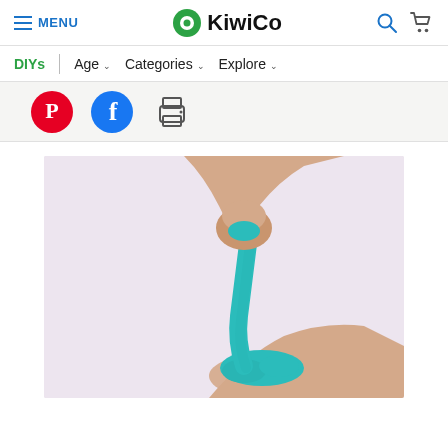MENU | KiwiCo
DIYs | Age | Categories | Explore
[Figure (other): Social share icons: Pinterest, Facebook, and Print]
[Figure (photo): Hands stretching teal/turquoise slime against a light lavender background]